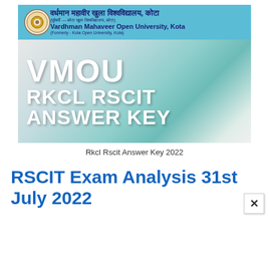[Figure (illustration): VMOU RKCL RSCIT Answer Key banner image with university logo and header in blue, featuring bold white text 'VMOU', 'RKCL RSCIT', and 'ANSWER KEY' on a watercolor teal/grey background]
Rkcl Rscit Answer Key 2022
RSCIT Exam Analysis 31st July 2022